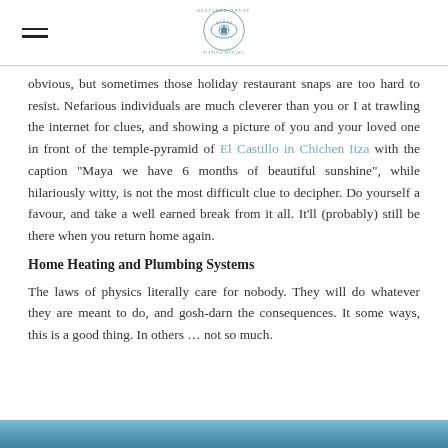Reliable House Sitting Ottawa (logo)
obvious, but sometimes those holiday restaurant snaps are too hard to resist. Nefarious individuals are much cleverer than you or I at trawling the internet for clues, and showing a picture of you and your loved one in front of the temple-pyramid of El Castillo in Chichen Itza with the caption "Maya we have 6 months of beautiful sunshine", while hilariously witty, is not the most difficult clue to decipher. Do yourself a favour, and take a well earned break from it all. It'll (probably) still be there when you return home again.
Home Heating and Plumbing Systems
The laws of physics literally care for nobody. They will do whatever they are meant to do, and gosh-darn the consequences. It some ways, this is a good thing. In others … not so much.
[Figure (photo): Bottom strip image, appears to be a blue/teal colored photo strip at the bottom of the page]